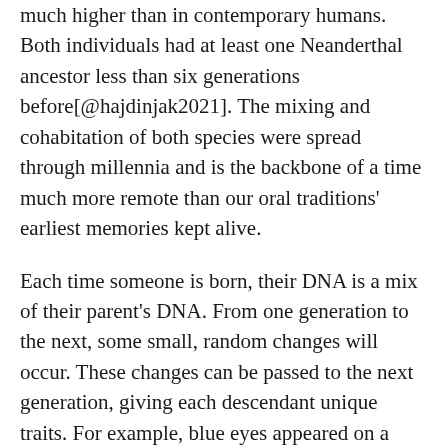much higher than in contemporary humans. Both individuals had at least one Neanderthal ancestor less than six generations before[@hajdinjak2021]. The mixing and cohabitation of both species were spread through millennia and is the backbone of a time much more remote than our oral traditions' earliest memories kept alive.
Each time someone is born, their DNA is a mix of their parent's DNA. From one generation to the next, some small, random changes will occur. These changes can be passed to the next generation, giving each descendant unique traits. For example, blue eyes appeared on a single individual who lived around 10000 years ago, probably close to the Black Sea[@eiberg2008].
In the same way that a scribe can check for spelling mistakes in words, cells have mechanisms to do spell-check. DNA has an alphabet of just four letters: